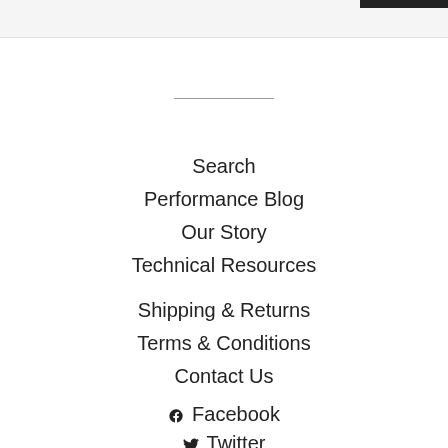Search
Performance Blog
Our Story
Technical Resources
Shipping & Returns
Terms & Conditions
Contact Us
Facebook
Twitter